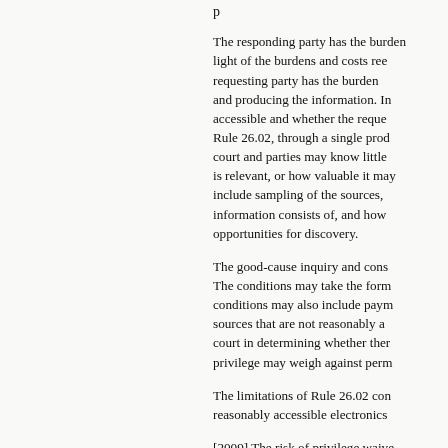The responding party has the burden... light of the burdens and costs re... requesting party has the burden... and producing the information. I... accessible and whether the requ... Rule 26.02, through a single pro... court and parties may know little... is relevant, or how valuable it ma... include sampling of the sources,... information consists of, and how... opportunities for discovery.
The good-cause inquiry and cons... The conditions may take the form... conditions may also include paym... sources that are not reasonably a... court in determining whether the... privilege may weigh against perm...
The limitations of Rule 26.02 con... reasonably accessible electronic...
[2009] The risk of privilege waive... electronically stored information,... the volume of electronically store... reviewed. The amendment to Ru... protection as trial-preparation ma...